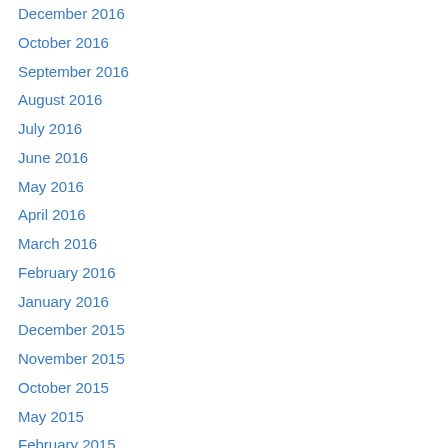December 2016
October 2016
September 2016
August 2016
July 2016
June 2016
May 2016
April 2016
March 2016
February 2016
January 2016
December 2015
November 2015
October 2015
May 2015
February 2015
August 2014
[Figure (logo): K-12 Food Rescue logo with red cross symbol]